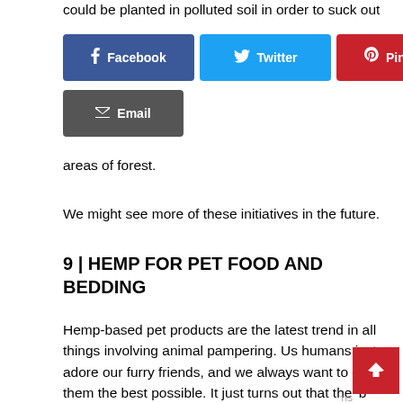could be planted in polluted soil in order to suck out
[Figure (infographic): Social share buttons: Facebook (blue), Twitter (light blue), Pinterest (red), Email (dark grey)]
areas of forest.
We might see more of these initiatives in the future.
9 | HEMP FOR PET FOOD AND BEDDING
Hemp-based pet products are the latest trend in all things involving animal pampering. Us humans just adore our furry friends, and we always want to give them the best possible. It just turns out that the 'b nowadays is hemp!